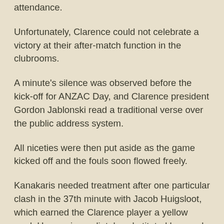attendance.
Unfortunately, Clarence could not celebrate a victory at their after-match function in the clubrooms.
A minute's silence was observed before the kick-off for ANZAC Day, and Clarence president Gordon Jablonski read a traditional verse over the public address system.
All niceties were then put aside as the game kicked off and the fouls soon flowed freely.
Kanakaris needed treatment after one particular clash in the 37th minute with Jacob Huigsloot, which earned the Clarence player a yellow card. He was immediately substituted by coach Andrew Brown and Ben Hamlett came on in his place.
By that stage, Kanakaris had already scored twice and it was 3-0 for the visitors.
South Hobart goalkeeper Sam Kruijver was in brilliant form